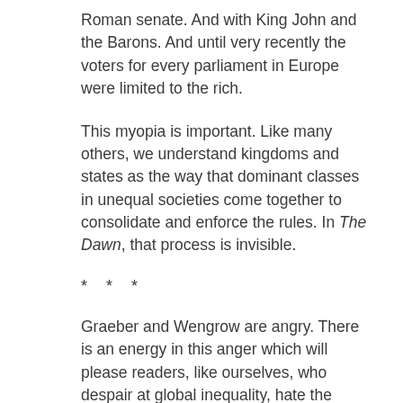Roman senate. And with King John and the Barons. And until very recently the voters for every parliament in Europe were limited to the rich.
This myopia is important. Like many others, we understand kingdoms and states as the way that dominant classes in unequal societies come together to consolidate and enforce the rules. In The Dawn, that process is invisible.
* * *
Graeber and Wengrow are angry. There is an energy in this anger which will please readers, like ourselves, who despair at global inequality, hate the politics of the global elite and are fearful of climate chaos.